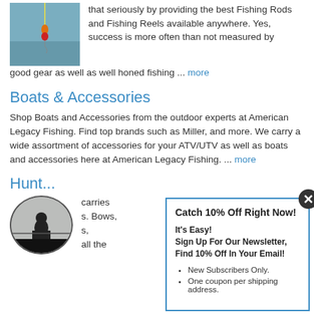[Figure (photo): Photo of a fishing bobber/float on water]
that seriously by providing the best Fishing Rods and Fishing Reels available anywhere. Yes, success is more often than not measured by good gear as well as well honed fishing ... more
Boats & Accessories
Shop Boats and Accessories from the outdoor experts at American Legacy Fishing. Find top brands such as Miller, and more. We carry a wide assortment of accessories for your ATV/UTV as well as boats and accessories here at American Legacy Fishing. ... more
Hunt
[Figure (photo): Circular photo of a hunter/hunting scene silhouette]
carries s. Bows, s, all the
[Figure (infographic): Modal popup: Catch 10% Off Right Now! It's Easy! Sign Up For Our Newsletter, Find 10% Off In Your Email! Bullet points: New Subscribers Only. One coupon per shipping address.]